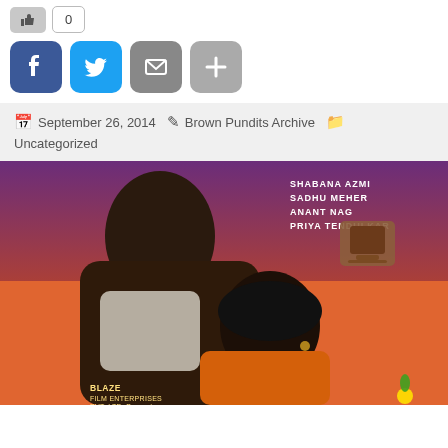[Figure (other): Like button with thumbs-up icon and count box showing 0]
[Figure (other): Social sharing icons: Facebook (blue), Twitter (blue), Email (grey), Add/Plus (grey)]
September 26, 2014  Brown Pundits Archive  Uncategorized
[Figure (photo): Movie poster showing two people (man and woman) close together, with text: SHABANA AZMI, SADHU MEHER, ANANT NAG, PRIYA TENDULKAR. Logo of Doordarshan. Bottom text: BLAZE FILM ENTERPRISES PVT. LTD. Presents. Orange/sunset background.]